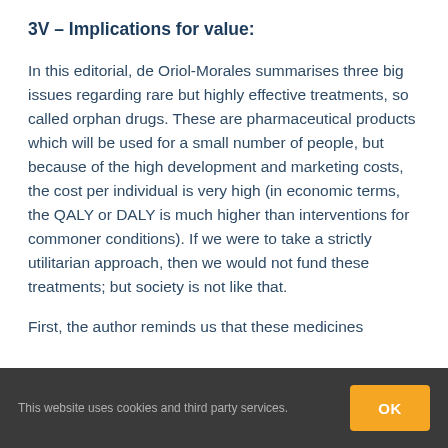3V – Implications for value:
In this editorial, de Oriol-Morales summarises three big issues regarding rare but highly effective treatments, so called orphan drugs. These are pharmaceutical products which will be used for a small number of people, but because of the high development and marketing costs, the cost per individual is very high (in economic terms, the QALY or DALY is much higher than interventions for commoner conditions). If we were to take a strictly utilitarian approach, then we would not fund these treatments; but society is not like that.
First, the author reminds us that these medicines
This website uses cookies and third party services.